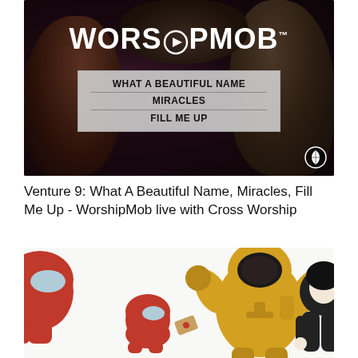[Figure (photo): WorshipMob thumbnail image showing concert performers with dark background. Large bold white text reads WORSHIPMOB with TM superscript. A lighter box lists song titles: WHAT A BEAUTIFUL NAME, MIRACLES, FILL ME UP.]
Venture 9: What A Beautiful Name, Miracles, Fill Me Up - WorshipMob live with Cross Worship
[Figure (illustration): Cartoon illustration showing a red Among Us character on the left, a small red Among Us character in the center-left tossing something, a large yellow hazmat-suited figure in the center, and a small dark anime-style character on the right. White background.]